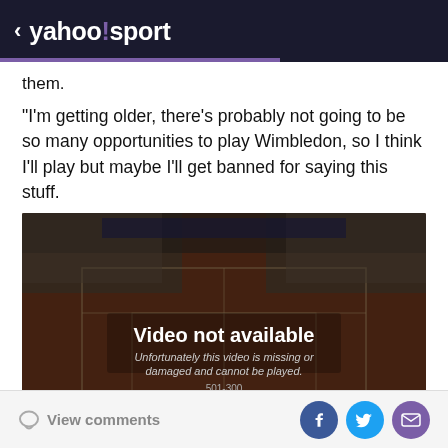< yahoo!sport
them.
"I'm getting older, there's probably not going to be so many opportunities to play Wimbledon, so I think I'll play but maybe I'll get banned for saying this stuff.
[Figure (screenshot): Video player showing a tennis court (clay court aerial view) with overlay message: 'Video not available. Unfortunately this video is missing or damaged and cannot be played. 501-300']
View comments